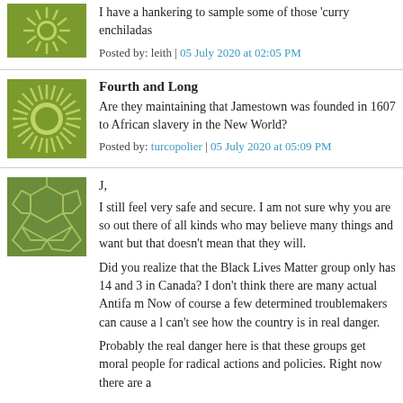I have a hankering to sample some of those 'curry enchiladas
Posted by: leith | 05 July 2020 at 02:05 PM
Fourth and Long
Are they maintaining that Jamestown was founded in 1607 to African slavery in the New World?
Posted by: turcopolier | 05 July 2020 at 05:09 PM
J,
I still feel very safe and secure. I am not sure why you are so out there of all kinds who may believe many things and want but that doesn't mean that they will.
Did you realize that the Black Lives Matter group only has 14 and 3 in Canada? I don't think there are many actual Antifa m Now of course a few determined troublemakers can cause a l can't see how the country is in real danger.
Probably the real danger here is that these groups get moral people for radical actions and policies. Right now there are a